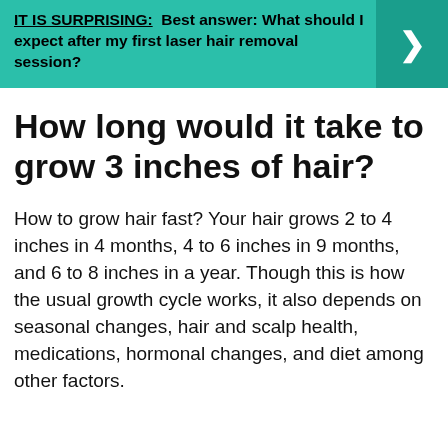[Figure (other): Teal banner with bold text: 'IT IS SURPRISING: Best answer: What should I expect after my first laser hair removal session?' and a right-arrow chevron on a darker teal background on the right side.]
How long would it take to grow 3 inches of hair?
How to grow hair fast? Your hair grows 2 to 4 inches in 4 months, 4 to 6 inches in 9 months, and 6 to 8 inches in a year. Though this is how the usual growth cycle works, it also depends on seasonal changes, hair and scalp health, medications, hormonal changes, and diet among other factors.